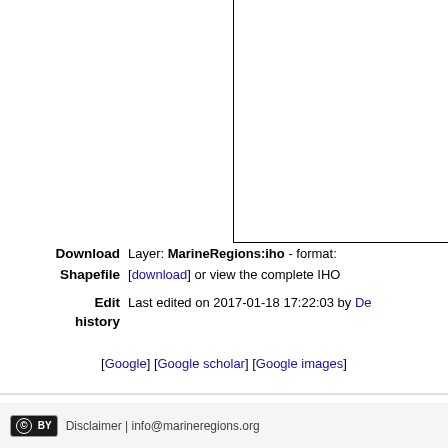[Figure (other): Partial map/diagram area with left and bottom border lines, white interior, cropped at top and right edges of page]
Download  Layer: MarineRegions:iho - format:
Shapefile  [download] or view the complete IHO
Edit history  Last edited on 2017-01-18 17:22:03 by De
[Google] [Google scholar] [Google images]
CC BY  Disclaimer | info@marineregions.org